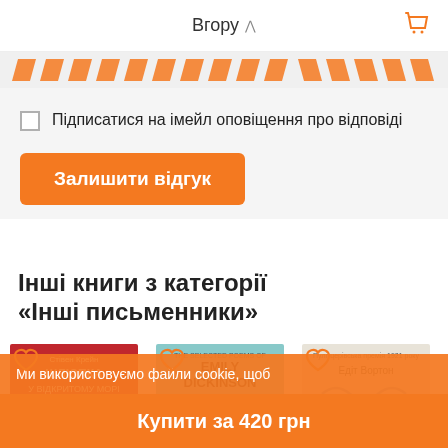Вгору
[Figure (illustration): Decorative orange chevron/arrow pattern row]
Підписатися на імейл оповіщення про відповіді
Залишити відгук
Інші книги з категорії «Інші письменники»
[Figure (photo): Book cover 1: Стівен Крейн - Шлюпка у відкритому морі, red and blue cover]
[Figure (photo): Book cover 2: The Selected Poems of Emily Dickinson, teal cover with house]
[Figure (photo): Book cover 3: Едіт Вортон - Епоха невинності, beige cover]
Ми використовуємо файли cookie, щоб
Купити за 420 грн